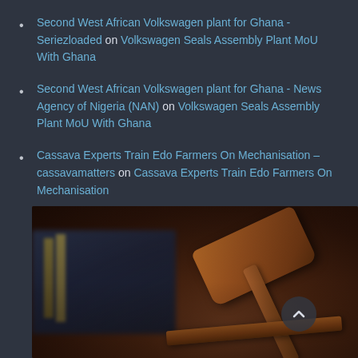Second West African Volkswagen plant for Ghana - Seriezloaded on Volkswagen Seals Assembly Plant MoU With Ghana
Second West African Volkswagen plant for Ghana - News Agency of Nigeria (NAN) on Volkswagen Seals Assembly Plant MoU With Ghana
Cassava Experts Train Edo Farmers On Mechanisation – cassavamatters on Cassava Experts Train Edo Farmers On Mechanisation
[Figure (photo): A close-up photo of a wooden judge's gavel resting on a surface, with blurred law books in the background. Warm brown tones dominate the image.]